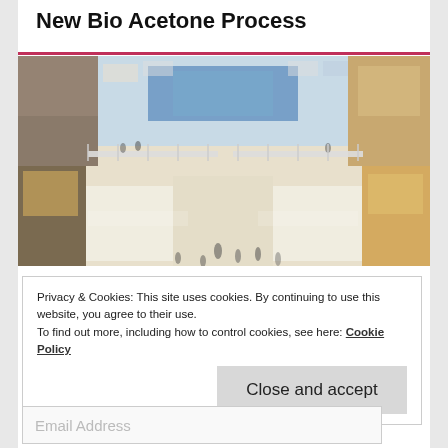New Bio Acetone Process
[Figure (photo): Interior of a modern multi-level shopping mall with shoppers, stores, glass railings and bright lighting viewed from above]
Privacy & Cookies: This site uses cookies. By continuing to use this website, you agree to their use.
To find out more, including how to control cookies, see here: Cookie Policy
Close and accept
Email Address